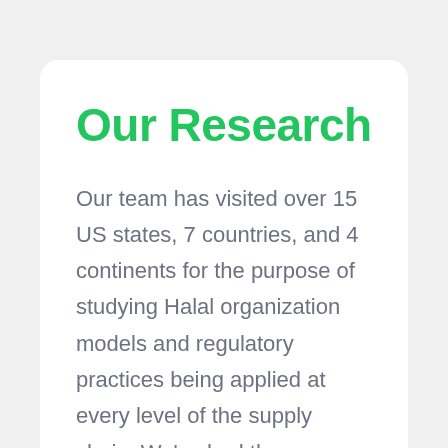Our Research
Our team has visited over 15 US states, 7 countries, and 4 continents for the purpose of studying Halal organization models and regulatory practices being applied at every level of the supply chain. We've had the